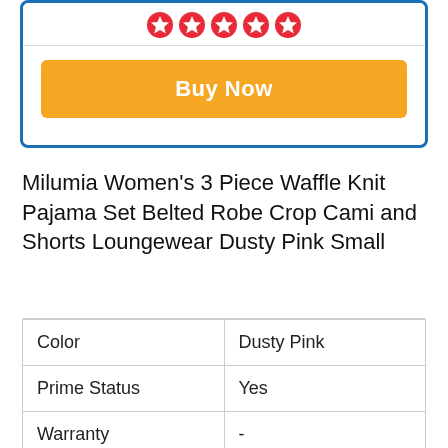[Figure (other): Product card with star rating icons and orange Buy Now button, inside blue-bordered rounded rectangle]
Milumia Women's 3 Piece Waffle Knit Pajama Set Belted Robe Crop Cami and Shorts Loungewear Dusty Pink Small
| Color | Dusty Pink |
| Prime Status | Yes |
| Warranty | - |
| Brand | Milumia |
| Rating | 9.44/10 |